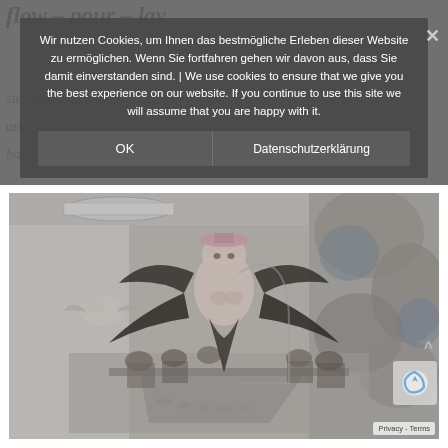flow – pour – lay
succession of dishes of different consistencies and colours ar... to the baroque-looking plates and goblets.
Wir nutzen Cookies, um Ihnen das bestmögliche Erleben dieser Website zu ermöglichen. Wenn Sie fortfahren gehen wir davon aus, dass Sie damit einverstanden sind. | We use cookies to ensure that we give you the best experience on our website. If you continue to use this site we will assume that you are happy with it.
OK
Datenschutzerklärung
[Figure (photo): Artwork installation photograph showing a surreal dining scene. A large baroque-style demon/angel figure with wings and a female torso floats above a long dining table. Baroque ornamental sculptures and cherubs are visible on the right wall. People are seated at the long table. A small cherub figure floats on the left side of the room. The image blends baroque ornamental art with a contemporary installation in a gallery setting.]
Privacy - Terms